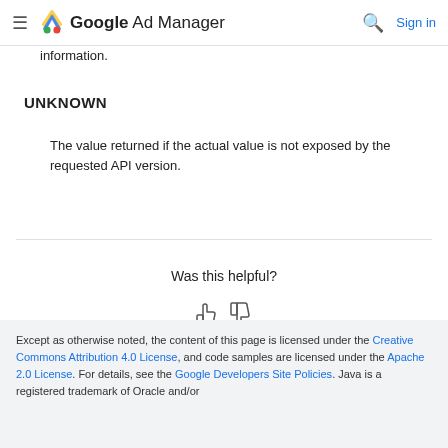≡  Google Ad Manager  🔍  Sign in
information.
UNKNOWN
The value returned if the actual value is not exposed by the requested API version.
Was this helpful?
Send feedback
Except as otherwise noted, the content of this page is licensed under the Creative Commons Attribution 4.0 License, and code samples are licensed under the Apache 2.0 License. For details, see the Google Developers Site Policies. Java is a registered trademark of Oracle and/or